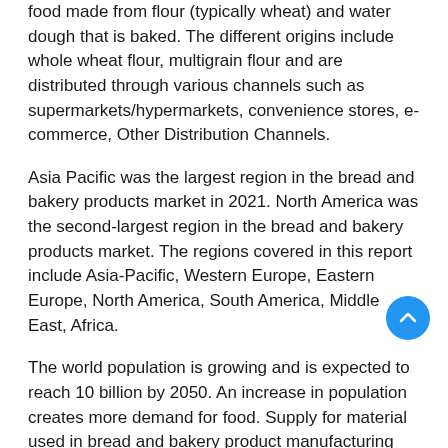food made from flour (typically wheat) and water dough that is baked. The different origins include whole wheat flour, multigrain flour and are distributed through various channels such as supermarkets/hypermarkets, convenience stores, e-commerce, Other Distribution Channels.
Asia Pacific was the largest region in the bread and bakery products market in 2021. North America was the second-largest region in the bread and bakery products market. The regions covered in this report include Asia-Pacific, Western Europe, Eastern Europe, North America, South America, Middle East, Africa.
The world population is growing and is expected to reach 10 billion by 2050. An increase in population creates more demand for food. Supply for material used in bread and bakery product manufacturing and trade volumes will have to increase in order to meet the increased population. Therefore, companies in this market are expected to benefit from rising demand for bakery & confectionery products due to the rising population, during the forecast period.